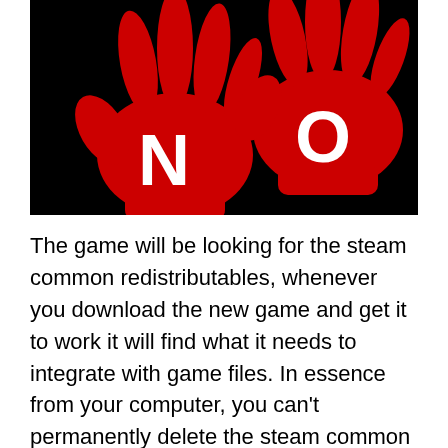[Figure (illustration): Two red hand silhouettes on a black background spelling 'NO' — the left hand has the letter N in white on it, the right hand has the letter O in white on it.]
The game will be looking for the steam common redistributables, whenever you download the new game and get it to work it will find what it needs to integrate with game files. In essence from your computer, you can't permanently delete the steam common redistributables until and unless you are no longer interested in the Games.